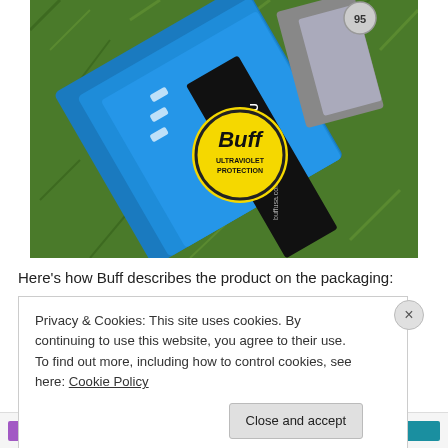[Figure (photo): Photo of Buff UV Half Buff product packaging on green grass. Shows blue fabric and black packaging with 'UV HALF BU' text visible, and a yellow circular Buff logo sticker reading 'ULTRAVIOLET PROTECTION'. Another Buff product in grey/blue is also visible.]
Here's how Buff describes the product on the packaging:
Privacy & Cookies: This site uses cookies. By continuing to use this website, you agree to their use.
To find out more, including how to control cookies, see here: Cookie Policy
Close and accept